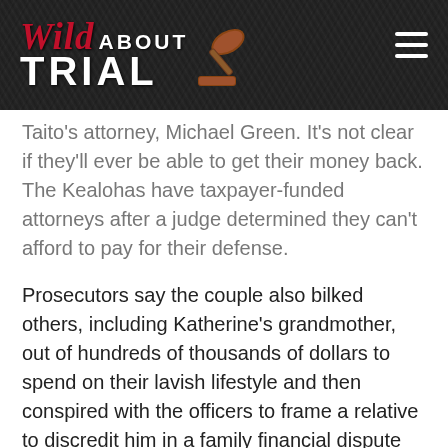Wild About Trial
Taito's attorney, Michael Green. It's not clear if they'll ever be able to get their money back. The Kealohas have taxpayer-funded attorneys after a judge determined they can't afford to pay for their defense.
Prosecutors say the couple also bilked others, including Katherine's grandmother, out of hundreds of thousands of dollars to spend on their lavish lifestyle and then conspired with the officers to frame a relative to discredit him in a family financial dispute that threatened to reveal the scheme.
Taito faces up to five years in prison, but Green said he doesn't expect him to receive any time